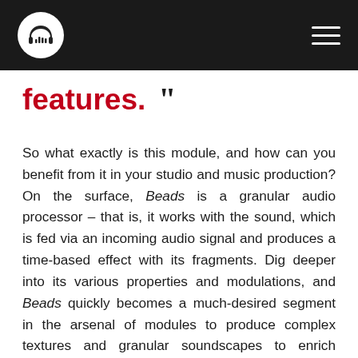[Logo icon] [Hamburger menu]
features. "
So what exactly is this module, and how can you benefit from it in your studio and music production? On the surface, Beads is a granular audio processor – that is, it works with the sound, which is fed via an incoming audio signal and produces a time-based effect with its fragments. Dig deeper into its various properties and modulations, and Beads quickly becomes a much-desired segment in the arsenal of modules to produce complex textures and granular soundscapes to enrich existing source sound or create a brand new one. So yes, even if you don't have a growing monster of a skiff or favour the virtual analogue synthesizers in your studio, you can use Beads in your signal path to process any audio input. But Beads is also a granular